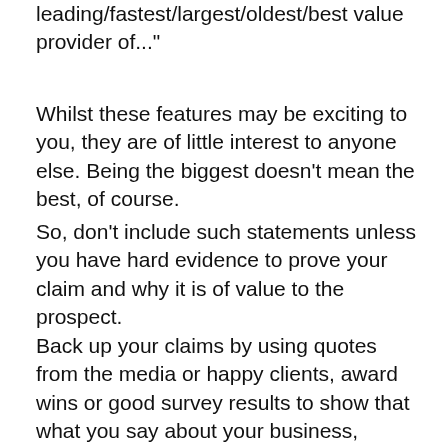statements along the lines of "We are the leading/fastest/largest/oldest/best value provider of..."
Whilst these features may be exciting to you, they are of little interest to anyone else. Being the biggest doesn't mean the best, of course.
So, don't include such statements unless you have hard evidence to prove your claim and why it is of value to the prospect.
Back up your claims by using quotes from the media or happy clients, award wins or good survey results to show that what you say about your business, product or service is genuine.
Another way to give evidence is to include short